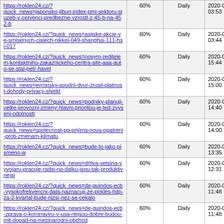| URL | % | Frequency | Date |
| --- | --- | --- | --- |
| https://roklen24.cz/?quick_news=japonsko-jibun-index-pmi-sektoru-sluzeb-v-cervenci-predbezne-vzrostl-z-45-b-na-452-b | 60% | Daily | 2020-07-22 03:53 |
| https://roklen24.cz/?quick_news=asijske-akcie-ve-smisenych-cislech-nikkei-049-shanghai-111-hsi-017 | 60% | Daily | 2020-07-22 03:44 |
| https://roklen24.cz/?quick_news=novym-reditelem-kontaktniho-zakaznickeho-centra-site-aaa-auto-se-stal-petr-havel | 60% | Daily | 2020-07-21 15:44 |
| https://roklen24.cz/?quick_news=evropsky-soudni-dvur-zrusil-platnost-dohody-privacy-shield | 60% | Daily | 2020-07-21 15:00 |
| https://roklen24.cz/?quick_news=podniky-planuji-velke-provozni-zmeny-hlavni-prioritou-je-ted-zvyseni-odolnosti | 60% | Daily | 2020-07-21 14:40 |
| https://roklen24.cz/?quick_news=spolecnost-pg-prijima-nova-opatreni-proti-zmenam-klimatu | 60% | Daily | 2020-07-21 14:00 |
| https://roklen24.cz/?quick_news=bude-to-jako-pismeno-w | 60% | Daily | 2020-07-21 13:35 |
| https://roklen24.cz/?quick_news=drtiva-vetsina-vyvojaru-pracuje-radsi-na-dalku-jsou-tak-produktivnejsi | 60% | Daily | 2020-07-21 12:31 |
| https://roklen24.cz/?quick_news=de-guindos-ecb-vysokofrekvencni-data-naznacuji-ze-pokles-hdp-za-2-kvartal-bude-nizsi-nez-se-cekalo | 60% | Daily | 2020-07-21 11:48 |
| https://roklen24.cz/?quick_news=de-guindos-ecb-zprava-o-koronaviru-v-usa-nejsou-dobre-budou-mit-dopad-na-mezinarodni-obchod | 60% | Daily | 2020-07-21 11:48 |
| https://roklen24.cz/?quick_news=nejvetsi-polska-sazkova-kancelar-sts-koupila- | 60% | Daily | 2020-07-21 |